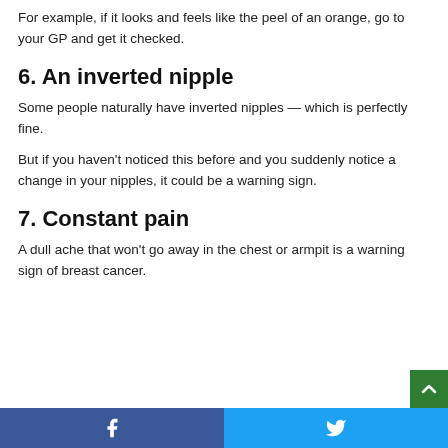For example, if it looks and feels like the peel of an orange, go to your GP and get it checked.
6. An inverted nipple
Some people naturally have inverted nipples — which is perfectly fine.
But if you haven't noticed this before and you suddenly notice a change in your nipples, it could be a warning sign.
7. Constant pain
A dull ache that won't go away in the chest or armpit is a warning sign of breast cancer.
Facebook | Twitter